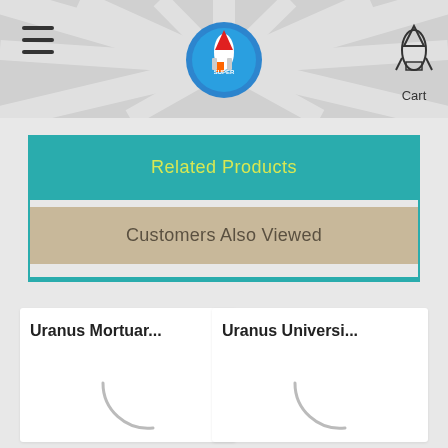[Figure (screenshot): E-commerce website header with sunburst background, hamburger menu on left, rocket logo in center, and cart icon on right]
Related Products
Customers Also Viewed
Uranus Mortuar...
Uranus Universi...